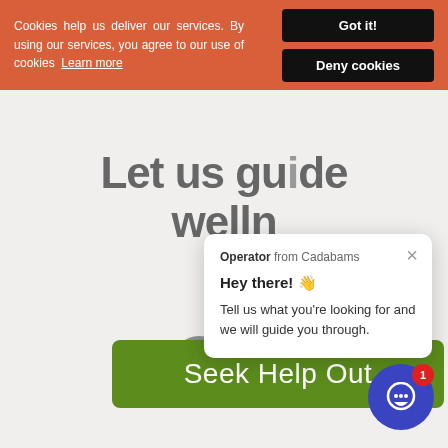Cookies help us deliver our services. By using our services, you agree to our use of cookies  Learn more
Got it!
Deny cookies
Let us guide your wellness
[Figure (screenshot): Chat popup from Operator from Cadabams saying Hey there! and Tell us what you're looking for and we will guide you through.]
Seek Help Out
[Figure (other): Blue chat bubble button with smiley face and red badge showing 1]